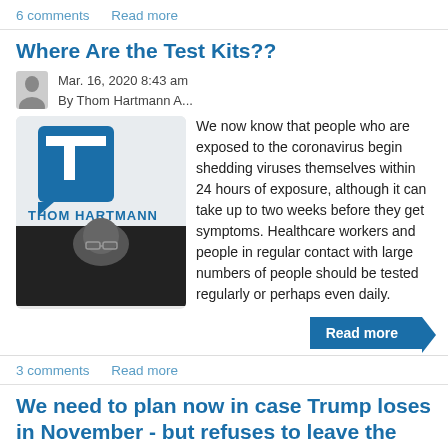6 comments   Read more
Where Are the Test Kits??
Mar. 16, 2020 8:43 am
By Thom Hartmann A...
[Figure (logo): Thom Hartmann Program logo with TH monogram and photo of man]
We now know that people who are exposed to the coronavirus begin shedding viruses themselves within 24 hours of exposure, although it can take up to two weeks before they get symptoms. Healthcare workers and people in regular contact with large numbers of people should be tested regularly or perhaps even daily.
Read more
3 comments   Read more
We need to plan now in case Trump loses in November - but refuses to leave the White House